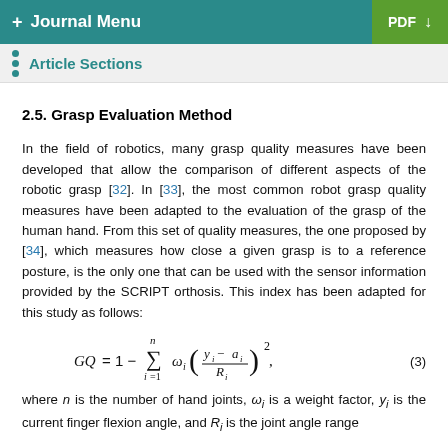+ Journal Menu | PDF (download)
Article Sections
2.5. Grasp Evaluation Method
In the field of robotics, many grasp quality measures have been developed that allow the comparison of different aspects of the robotic grasp [32]. In [33], the most common robot grasp quality measures have been adapted to the evaluation of the grasp of the human hand. From this set of quality measures, the one proposed by [34], which measures how close a given grasp is to a reference posture, is the only one that can be used with the sensor information provided by the SCRIPT orthosis. This index has been adapted for this study as follows:
where n is the number of hand joints, ω_i is a weight factor, y_i is the current finger flexion angle, and R_i is the joint angle range